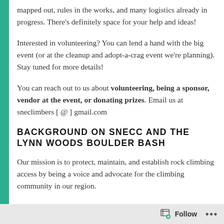mapped out, rules in the works, and many logistics already in progress. There’s definitely space for your help and ideas!
Interested in volunteering? You can lend a hand with the big event (or at the cleanup and adopt-a-crag event we’re planning). Stay tuned for more details!
You can reach out to us about volunteering, being a sponsor, vendor at the event, or donating prizes. Email us at sneclimbers [ @ ] gmail.com
BACKGROUND ON SNECC AND THE LYNN WOODS BOULDER BASH
Our mission is to protect, maintain, and establish rock climbing access by being a voice and advocate for the climbing community in our region.
Follow ...